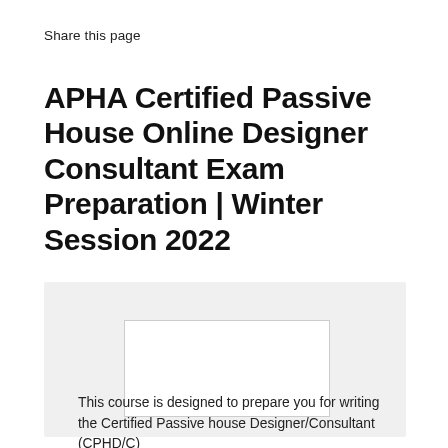Share this page
APHA Certified Passive House Online Designer Consultant Exam Preparation | Winter Session 2022
[Figure (other): Gray box containing a white rectangle placeholder image area]
This course is designed to prepare you for writing the Certified Passive house Designer/Consultant (CPHD/C)